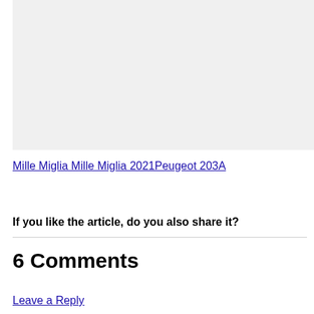[Figure (other): Gray placeholder image box]
Mille Miglia Mille Miglia 2021Peugeot 203A
If you like the article, do you also share it?
6 Comments
Leave a Reply